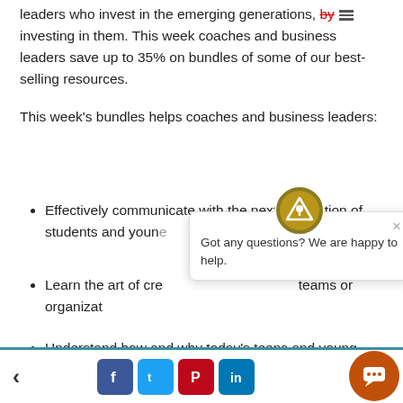leaders who invest in the emerging generations, by investing in them. This week coaches and business leaders save up to 35% on bundles of some of our best-selling resources.
This week's bundles helps coaches and business leaders:
Effectively communicate with the next generation of students and young [adults]
Learn the art of cre[ating high-performing] teams or organizat[ions]
Understand how and why today's teens and young adults are different from past generations.
[Figure (screenshot): Chat popup widget with a circular logo icon at top, close button (×), and text 'Got any questions? We are happy to help.']